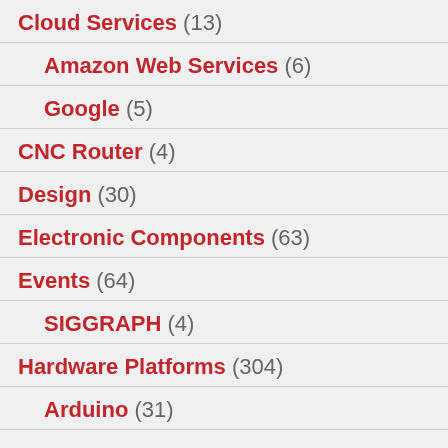Cloud Services (13)
Amazon Web Services (6)
Google (5)
CNC Router (4)
Design (30)
Electronic Components (63)
Events (64)
SIGGRAPH (4)
Hardware Platforms (304)
Arduino (31)